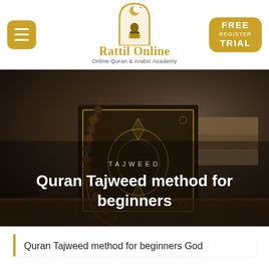[Figure (logo): Rattil Online logo with crescent and figure reading book inside arch shape]
Rattil Online
Online Quran & Arabic Academy
[Figure (photo): Dark-toned photo of a decorative Quran with prayer beads (tasbih) on a wooden surface with stacked books in background]
TAJWEED
Quran Tajweed method for beginners
Quran Tajweed method for beginners God